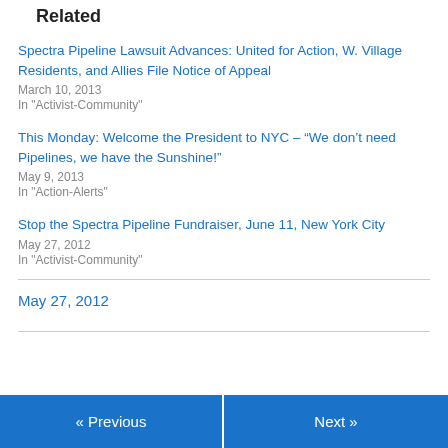Related
Spectra Pipeline Lawsuit Advances: United for Action, W. Village Residents, and Allies File Notice of Appeal
March 10, 2013
In "Activist-Community"
This Monday: Welcome the President to NYC – “We don’t need Pipelines, we have the Sunshine!”
May 9, 2013
In "Action-Alerts"
Stop the Spectra Pipeline Fundraiser, June 11, New York City
May 27, 2012
In "Activist-Community"
May 27, 2012
« Previous    Next »